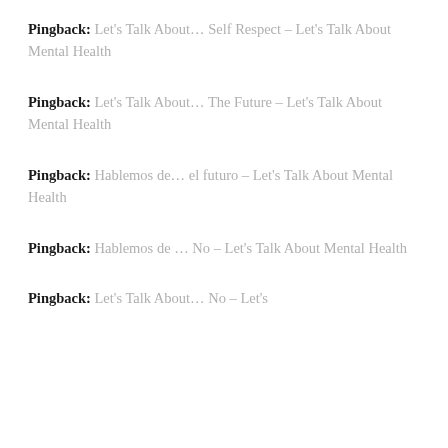Pingback: Let's Talk About… Self Respect – Let's Talk About Mental Health
Pingback: Let's Talk About… The Future – Let's Talk About Mental Health
Pingback: Hablemos de… el futuro – Let's Talk About Mental Health
Pingback: Hablemos de … No – Let's Talk About Mental Health
Pingback: Let's Talk About… No – Let's